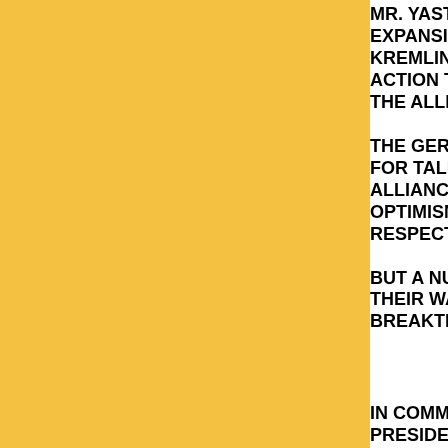MR. YASTRZHEMBSKY SAID RUSSIA'S EXPANSION REMAINS STRONGLY NEG... KREMLIN OFFICIALS ON MONDAY HA... ACTION TO COUNTER WHATEVER FOR... THE ALLIANCE MIGHT TAKE.
THE GERMAN CHANCELLOR FLEW IN... FOR TALKS AIMED AT EASING RUSSIA... ALLIANCE'S INTENTIONS. AFTERWARD... OPTIMISM A COMPROMISE COULD BE... RESPECT THE KREMLIN'S SECURITY IN...
BUT A NUMBER OF SENIOR RUSSIAN O... THEIR WAY MONDAY TO EMPHASIZE T... BREAKTHROUGH.
// OPT //
IN COMMENTS TO THE ITAR-TASS NEW... PRESIDENTIAL ADVISER SERGEI SHAK... EXPANSION GOES AHEAD, RUSSIA MIO... OBLIGATIONS UNDER INTERNATIONA... ANOTHER TASS INTERVIEW, LAWMAK... GUTSERIYEV SAID ENLARGEMENT OF... DO SERIOUS DAMAGE TO RUSSIA'S NA...